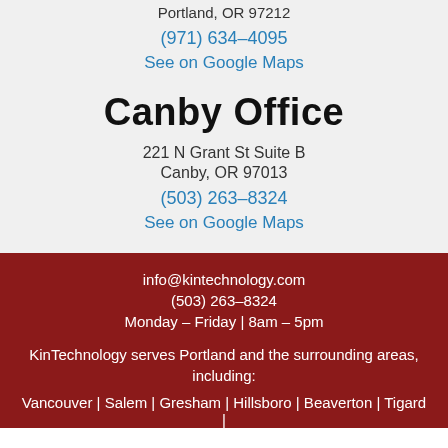Portland, OR 97212
(971) 634-4095
See on Google Maps
Canby Office
221 N Grant St Suite B
Canby, OR 97013
(503) 263-8324
See on Google Maps
info@kintechnology.com
(503) 263-8324
Monday – Friday | 8am – 5pm
KinTechnology serves Portland and the surrounding areas, including:
Vancouver | Salem | Gresham | Hillsboro | Beaverton | Tigard |